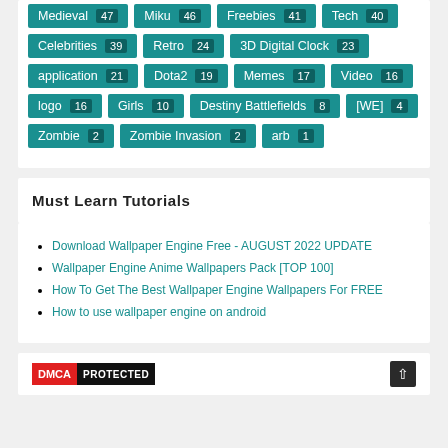Medieval 47
Miku 46
Freebies 41
Tech 40
Celebrities 39
Retro 24
3D Digital Clock 23
application 21
Dota2 19
Memes 17
Video 16
logo 16
Girls 10
Destiny Battlefields 8
[WE] 4
Zombie 2
Zombie Invasion 2
arb 1
Must Learn Tutorials
Download Wallpaper Engine Free - AUGUST 2022 UPDATE
Wallpaper Engine Anime Wallpapers Pack [TOP 100]
How To Get The Best Wallpaper Engine Wallpapers For FREE
How to use wallpaper engine on android
[Figure (logo): DMCA PROTECTED badge with red DMCA text and black PROTECTED text]
scroll to top arrow button